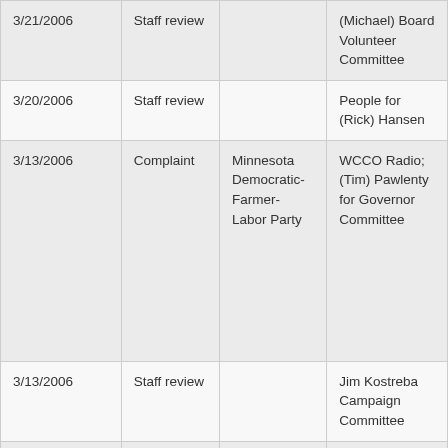| Date | Type | Respondent | Complainant/Subject |
| --- | --- | --- | --- |
| 3/21/2006 | Staff review |  | (Michael) Board Volunteer Committee |
| 3/20/2006 | Staff review |  | People for (Rick) Hansen |
| 3/13/2006 | Complaint | Minnesota Democratic-Farmer-Labor Party | WCCO Radio; (Tim) Pawlenty for Governor Committee |
| 3/13/2006 | Staff review |  | Jim Kostreba Campaign Committee |
| 3/13/2006 | Staff review |  | (Tim) Pawlenty for Governor Committee |